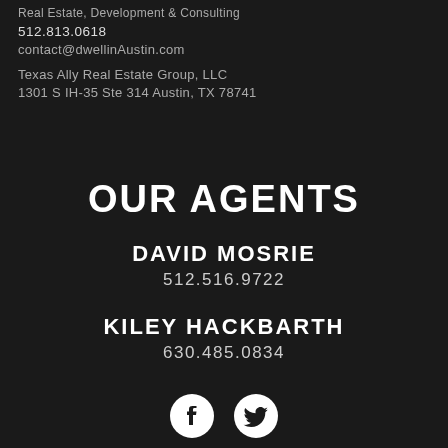Real Estate, Development & Consulting
512.813.0618
contact@dwellinAustin.com
Texas Ally Real Estate Group, LLC
1301 S IH-35 Ste 314 Austin, TX 78741
OUR AGENTS
DAVID MOSRIE
512.516.9722
KILEY HACKBARTH
630.485.0834
[Figure (illustration): Facebook and Twitter social media icons in white on dark background]